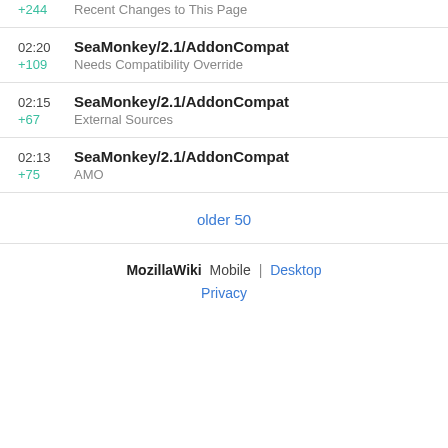+244 Recent Changes to This Page
02:20 SeaMonkey/2.1/AddonCompat +109 Needs Compatibility Override
02:15 SeaMonkey/2.1/AddonCompat +67 External Sources
02:13 SeaMonkey/2.1/AddonCompat +75 AMO
older 50
MozillaWiki  Mobile  |  Desktop  Privacy